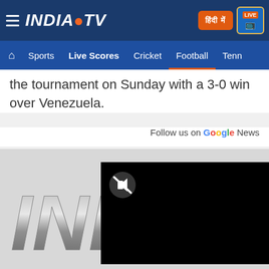India TV - hamburger menu, INDIA TV logo, Hindi button, LIVE TV button
Home | Sports | Live Scores | Cricket | Football | Tenn...
the tournament on Sunday with a 3-0 win over Venezuela.
Follow us on Google News
[Figure (screenshot): India TV logo partially visible with IND letters and globe icon, overlaid by a black video player rectangle with a muted/disabled icon]
pagination area at bottom